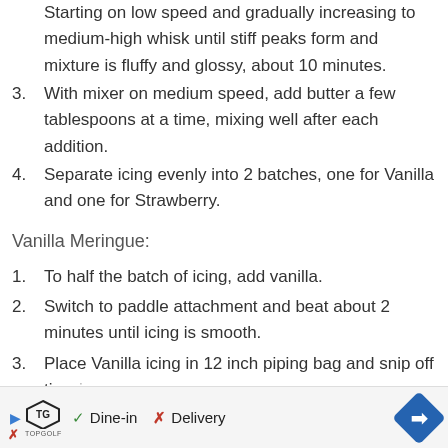Starting on low speed and gradually increasing to medium-high whisk until stiff peaks form and mixture is fluffy and glossy, about 10 minutes.
3. With mixer on medium speed, add butter a few tablespoons at a time, mixing well after each addition.
4. Separate icing evenly into 2 batches, one for Vanilla and one for Strawberry.
Vanilla Meringue:
1. To half the batch of icing, add vanilla.
2. Switch to paddle attachment and beat about 2 minutes until icing is smooth.
3. Place Vanilla icing in 12 inch piping bag and snip off tip